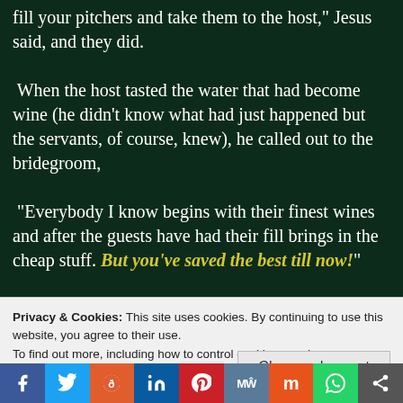fill your pitchers and take them to the host," Jesus said, and they did.
 When the host tasted the water that had become wine (he didn't know what had just happened but the servants, of course, knew), he called out to the bridegroom,
 "Everybody I know begins with their finest wines and after the guests have had their fill brings in the cheap stuff. But you've saved the best till now!"
 This act in Cana of Galilee was the first sign Jesus gave, the first glimpse of his glory. And his
Privacy & Cookies: This site uses cookies. By continuing to use this website, you agree to their use.
To find out more, including how to control cookies, see here: Cookie Policy
Close and accept